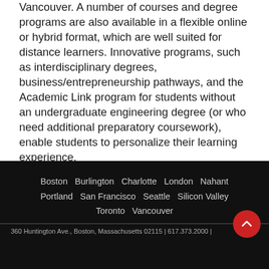Vancouver. A number of courses and degree programs are also available in a flexible online or hybrid format, which are well suited for distance learners. Innovative programs, such as interdisciplinary degrees, business/entrepreneurship pathways, and the Academic Link program for students without an undergraduate engineering degree (or who need additional preparatory coursework), enable students to personalize their learning experience.
Boston  Burlington  Charlotte  London  Nahant  Portland  San Francisco  Seattle  Silicon Valley  Toronto  Vancouver
360 Huntington Ave., Boston, Massachusetts 02115 | 617.373.2000 |